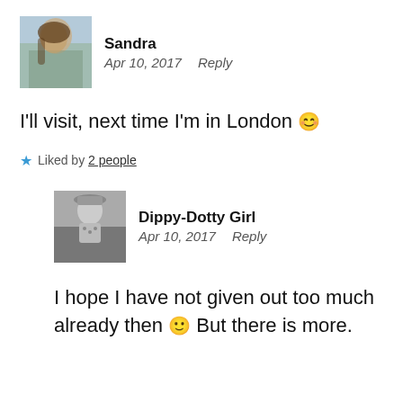[Figure (photo): Profile photo of Sandra, outdoor background with blue sky and landscape]
Sandra
Apr 10, 2017   Reply
I'll visit, next time I'm in London 😊
★ Liked by 2 people
[Figure (photo): Black and white profile photo of Dippy-Dotty Girl, a young girl wearing a hat]
Dippy-Dotty Girl
Apr 10, 2017   Reply
I hope I have not given out too much already then 🙂 But there is more.